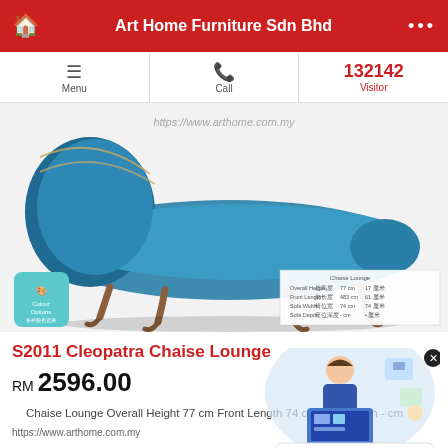Art Home Furniture Sdn Bhd
[Figure (screenshot): Navigation bar with Menu, Call, and 132142 Visitor count]
[Figure (photo): Blue teal Cleopatra Chaise Lounge sofa product image with dimensions table and colour options panel]
S2011 Cleopatra Chaise Lounge
RM 2596.00
Chaise Lounge Overall Height 77 cm Front Length 74 cm Sofa Depth - cm
https://www.arthome.com.my
[Figure (illustration): Chat popup with avatar illustration saying What are you looking for? Let us know what you need. Click here to get your free quote now!]
Art Home Furniture Sdn Bhd added new product
SHOW MORE INFO